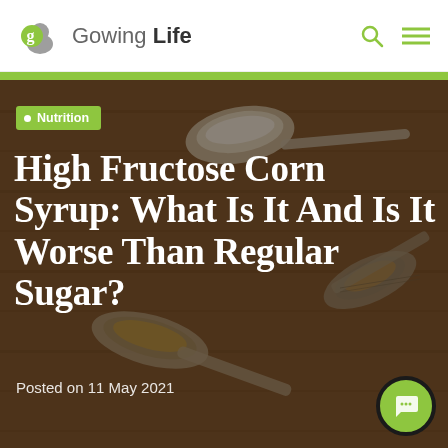Gowing Life
[Figure (photo): Background photo of spoons with sugar/powder on a wooden surface, darkened overlay]
Nutrition
High Fructose Corn Syrup: What Is It And Is It Worse Than Regular Sugar?
Posted on 11 May 2021